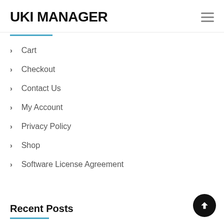UKI MANAGER
Cart
Checkout
Contact Us
My Account
Privacy Policy
Shop
Software License Agreement
Recent Posts